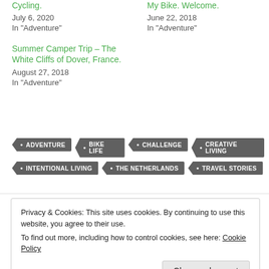Cycling.
July 6, 2020
In "Adventure"
My Bike. Welcome.
June 22, 2018
In "Adventure"
Summer Camper Trip – The White Cliffs of Dover, France.
August 27, 2018
In "Adventure"
ADVENTURE
BIKE LIFE
CHALLENGE
CREATIVE LIVING
INTENTIONAL LIVING
THE NETHERLANDS
TRAVEL STORIES
Privacy & Cookies: This site uses cookies. By continuing to use this website, you agree to their use.
To find out more, including how to control cookies, see here: Cookie Policy
Close and accept